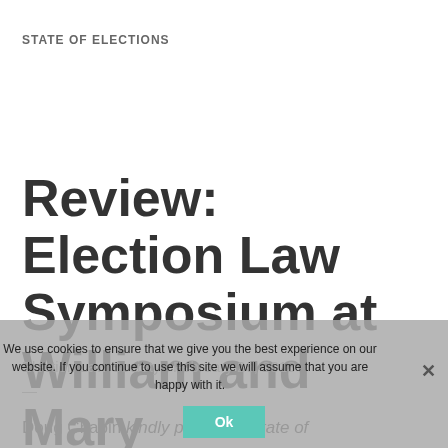STATE OF ELECTIONS
Review: Election Law Symposium at William and Mary
Election Law Society · February 26, 2013
—
Doug Chapin kindly permitted State of
We use cookies to ensure that we give you the best experience on our website. If you continue to use this site we will assume that you are happy with it.